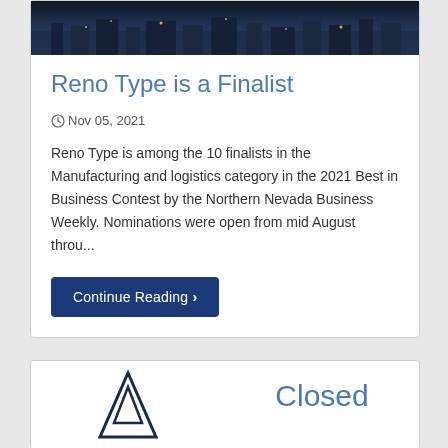[Figure (photo): Aerial night/dusk cityscape photo of Reno, Nevada]
Reno Type is a Finalist
Nov 05, 2021
Reno Type is among the 10 finalists in the Manufacturing and logistics category in the 2021 Best in Business Contest by the Northern Nevada Business Weekly. Nominations were open from mid August throu...
Continue Reading ❯
[Figure (logo): Mountain/arrow logo mark in dark navy blue]
Closed